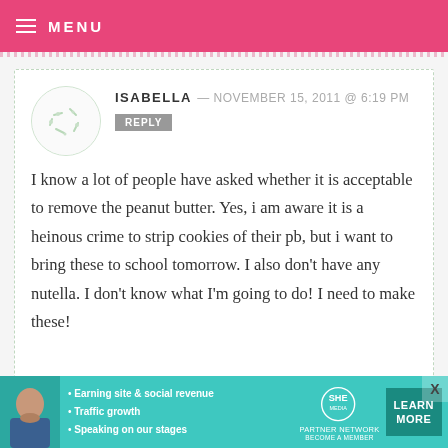MENU
ISABELLA — NOVEMBER 15, 2011 @ 6:19 PM
REPLY
I know a lot of people have asked whether it is acceptable to remove the peanut butter. Yes, i am aware it is a heinous crime to strip cookies of their pb, but i want to bring these to school tomorrow. I also don't have any nutella. I don't know what I'm going to do! I need to make these!
[Figure (infographic): SHE Partner Network advertisement banner with woman photo, bullet points about earning site & social revenue, traffic growth, speaking on stages, SHE logo, and Learn More button]